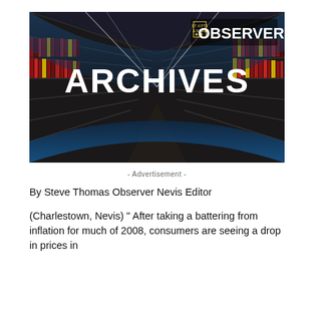[Figure (photo): Dark library archive hallway with tall shelves of binders on both sides, perspective view leading to bright center. Text 'ARCHIVES' in large bold white letters overlaid in the center. 'ST. KITTS NEVIS OBSERVER' logo in top right corner.]
- Advertisement -
By Steve Thomas Observer Nevis Editor
(Charlestown, Nevis) " After taking a battering from inflation for much of 2008, consumers are seeing a drop in prices in